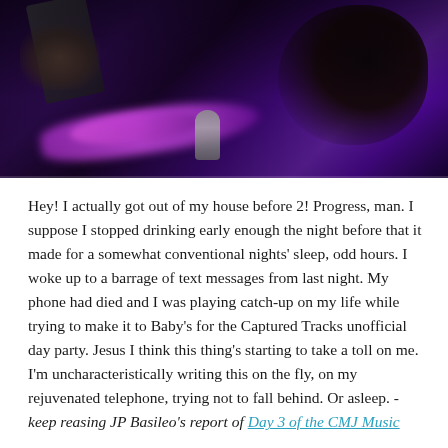[Figure (photo): Concert photo showing musicians performing under purple/violet stage lighting. A guitar neck is visible on the left, and a microphone is visible. The scene is dark with dramatic purple and pink lighting effects.]
Hey! I actually got out of my house before 2! Progress, man. I suppose I stopped drinking early enough the night before that it made for a somewhat conventional nights' sleep, odd hours. I woke up to a barrage of text messages from last night. My phone had died and I was playing catch-up on my life while trying to make it to Baby's for the Captured Tracks unofficial day party. Jesus I think this thing's starting to take a toll on me. I'm uncharacteristically writing this on the fly, on my rejuvenated telephone, trying not to fall behind. Or asleep. - keep reasing JP Basileo's report of Day 3 of the CMJ Music Marathon 2014 (photo by Micah Wilder...)